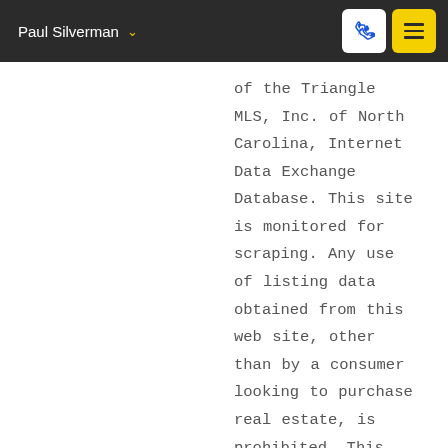Paul Silverman
of the Triangle MLS, Inc. of North Carolina, Internet Data Exchange Database. This site is monitored for scraping. Any use of listing data obtained from this web site, other than by a consumer looking to purchase real estate, is prohibited. This data has been updated as of August 31, 2022 5:44 PM UTC